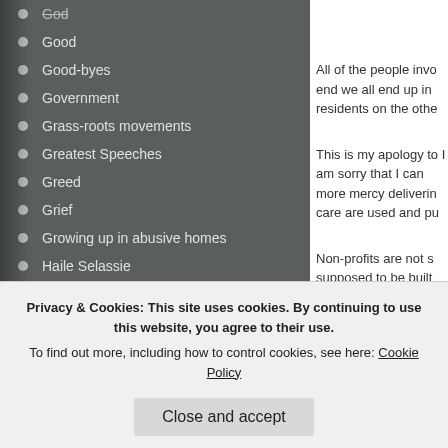God
Good
Good-byes
Government
Grass-roots movements
Greatest Speeches
Greed
Grief
Growing up in abusive homes
Haile Selassie
Happy
Health
Health Insurance
History
Holidays
All of the people invo end we all end up in residents on the othe
This is my apology to I am sorry that I can more mercy deliverin care are used and pu
Non-profits are not s supposed to be built reading this let me de
“Duty of care is the m
Privacy & Cookies: This site uses cookies. By continuing to use this website, you agree to their use.
To find out more, including how to control cookies, see here: Cookie Policy
Close and accept